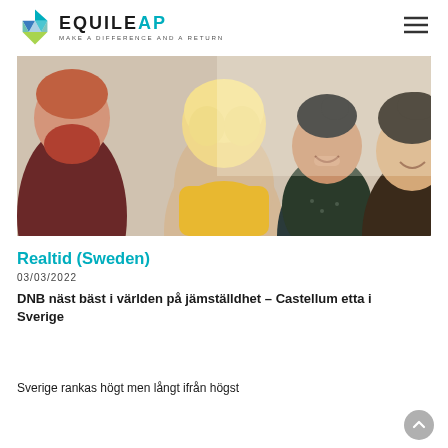EQUILEAP — MAKE A DIFFERENCE AND A RETURN
[Figure (photo): Group of diverse smiling people in a circle, viewed from above/behind, one person with short blonde hair and yellow scarf in center, others facing in]
Realtid (Sweden)
03/03/2022
DNB näst bäst i världen på jämställdhet – Castellum etta i Sverige
Sverige rankas högt men långt ifrån högst